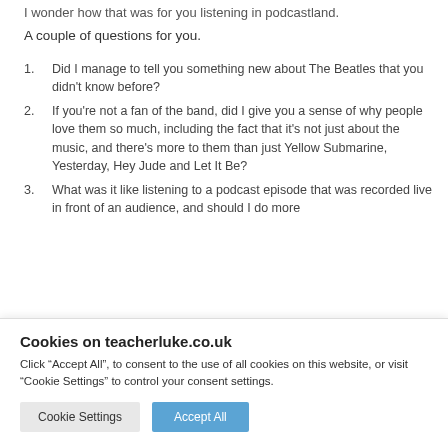I wonder how that was for you listening in podcastland.
A couple of questions for you.
Did I manage to tell you something new about The Beatles that you didn't know before?
If you're not a fan of the band, did I give you a sense of why people love them so much, including the fact that it's not just about the music, and there's more to them than just Yellow Submarine, Yesterday, Hey Jude and Let It Be?
What was it like listening to a podcast episode that was recorded live in front of an audience, and should I do more
Cookies on teacherluke.co.uk
Click “Accept All”, to consent to the use of all cookies on this website, or visit “Cookie Settings” to control your consent settings.